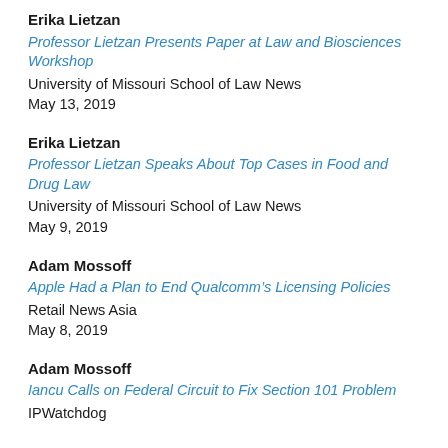Erika Lietzan
Professor Lietzan Presents Paper at Law and Biosciences Workshop
University of Missouri School of Law News
May 13, 2019
Erika Lietzan
Professor Lietzan Speaks About Top Cases in Food and Drug Law
University of Missouri School of Law News
May 9, 2019
Adam Mossoff
Apple Had a Plan to End Qualcomm’s Licensing Policies
Retail News Asia
May 8, 2019
Adam Mossoff
Iancu Calls on Federal Circuit to Fix Section 101 Problem
IPWatchdog